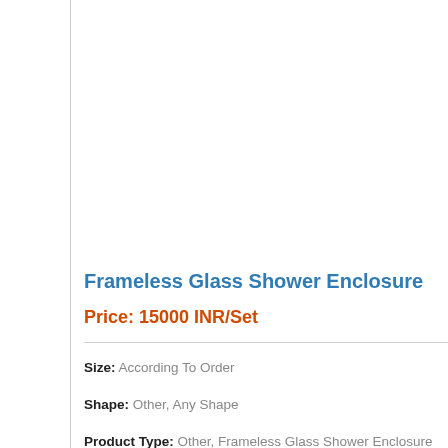Frameless Glass Shower Enclosure
Price: 15000 INR/Set
Size: According To Order
Shape: Other, Any Shape
Product Type: Other, Frameless Glass Shower Enclosure